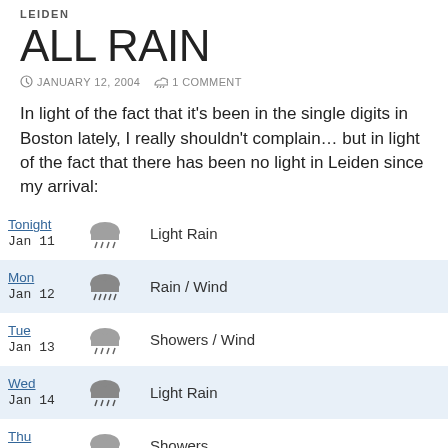LEIDEN
ALL RAIN
JANUARY 12, 2004   1 COMMENT
In light of the fact that it’s been in the single digits in Boston lately, I really shouldn’t complain… but in light of the fact that there has been no light in Leiden since my arrival:
| Day | Icon | Condition |
| --- | --- | --- |
| Tonight Jan 11 |  | Light Rain |
| Mon Jan 12 |  | Rain / Wind |
| Tue Jan 13 |  | Showers / Wind |
| Wed Jan 14 |  | Light Rain |
| Thu Jan 15 |  | Showers |
| Fri Jan 16 |  | Light Rain |
| Sat Jan 17 |  | Light Rain |